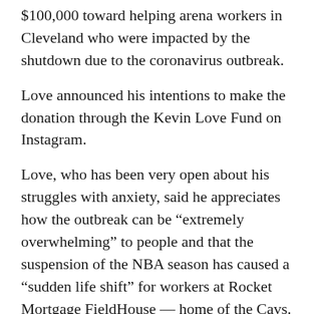$100,000 toward helping arena workers in Cleveland who were impacted by the shutdown due to the coronavirus outbreak.
Love announced his intentions to make the donation through the Kevin Love Fund on Instagram.
Love, who has been very open about his struggles with anxiety, said he appreciates how the outbreak can be “extremely overwhelming” to people and that the suspension of the NBA season has caused a “suddden life shift” for workers at Rocket Mortgage FieldHouse — home of the Cavs.
The team announced plans to financially help staff during the interruption.
Earlier, arena CEO Len Komorwski said despite the cancellation of the Mid-American Conference tournament that employees will be paid as if the event was held.